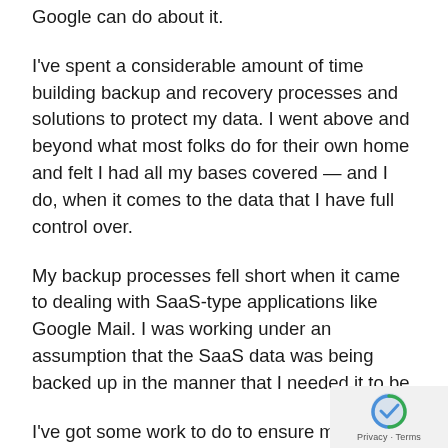Google can do about it.
I've spent a considerable amount of time building backup and recovery processes and solutions to protect my data. I went above and beyond what most folks do for their own home and felt I had all my bases covered — and I do, when it comes to the data that I have full control over.
My backup processes fell short when it came to dealing with SaaS-type applications like Google Mail. I was working under an assumption that the SaaS data was being backed up in the manner that I needed it to be.
I've got some work to do to ensure my SaaS